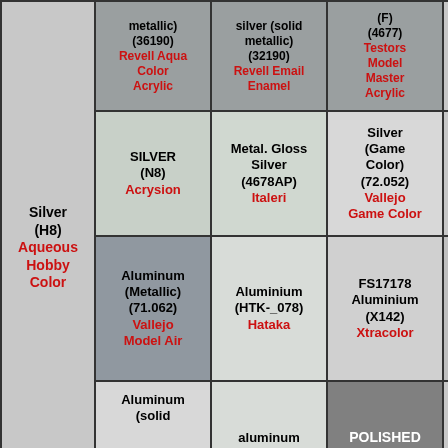| Silver (H8) Aqueous Hobby Color | Col2 | Col3 | Col4 |
| --- | --- | --- | --- |
|  | metallic) (36190) Revell Aqua Color Acrylic | silver (solid metallic) (32190) Revell Email Enamel | (F) (4677) Testors Model Master Acrylic |
|  | SILVER (N8) Acrysion | Metal. Gloss Silver (4678AP) Italeri | Silver (Game Color) (72.052) Vallejo Game Color |
| Silver (H8) Aqueous Hobby Color | Aluminum (Metallic) (71.062) Vallejo Model Air | Aluminium (HTK-_078) Hataka | FS17178 Aluminium (X142) Xtracolor |
|  | Aluminum (solid | aluminum | POLISHED |